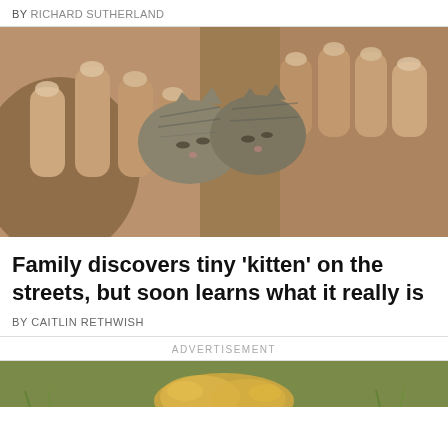BY RICHARD SUTHERLAND
[Figure (photo): Close-up photograph of a pair of human hands gently cupping two tiny newborn kittens with striped fur and closed eyes.]
Family discovers tiny 'kitten' on the streets, but soon learns what it really is
BY CAITLIN RETHWISH
ADVERTISEMENT
[Figure (photo): Partial view of a small fluffy animal on grass, bottom of page.]